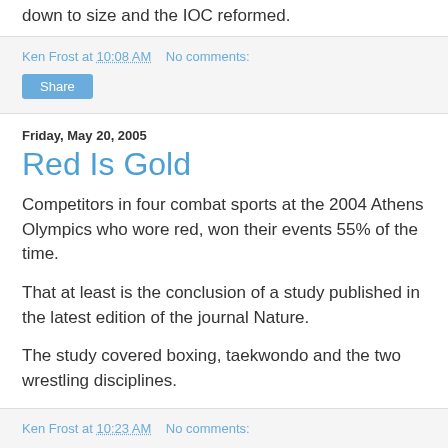I tell you, it really is about time that the Olympics were cut down to size and the IOC reformed.
Ken Frost at 10:08 AM   No comments:
Share
Friday, May 20, 2005
Red Is Gold
Competitors in four combat sports at the 2004 Athens Olympics who wore red, won their events 55% of the time.
That at least is the conclusion of a study published in the latest edition of the journal Nature.
The study covered boxing, taekwondo and the two wrestling disciplines.
Ken Frost at 10:23 AM   No comments: